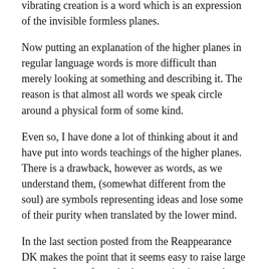vibrating creation is a word which is an expression of the invisible formless planes.
Now putting an explanation of the higher planes in regular language words is more difficult than merely looking at something and describing it. The reason is that almost all words we speak circle around a physical form of some kind.
Even so, I have done a lot of thinking about it and have put into words teachings of the higher planes. There is a drawback, however as words, as we understand them, (somewhat different from the soul) are symbols representing ideas and lose some of their purity when translated by the lower mind.
In the last section posted from the Reappearance DK makes the point that it seems easy to raise large sums of money for orthodox organizations such as the Red Cross, hospital, educational institutions etc, but very difficult to raise money for more enlightened forward-